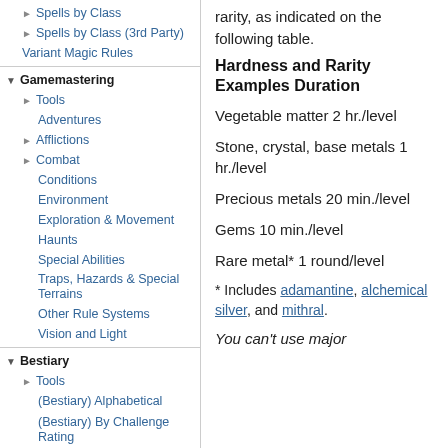Spells by Class
Spells by Class (3rd Party)
Variant Magic Rules
Gamemastering
Tools
Adventures
Afflictions
Combat
Conditions
Environment
Exploration & Movement
Haunts
Special Abilities
Traps, Hazards & Special Terrains
Other Rule Systems
Vision and Light
Bestiary
Tools
(Bestiary) Alphabetical
(Bestiary) By Challenge Rating
(Bestiary) By Terrain
(Bestiary) By Te...
rarity, as indicated on the following table.
Hardness and Rarity Examples Duration
Vegetable matter 2 hr./level
Stone, crystal, base metals 1 hr./level
Precious metals 20 min./level
Gems 10 min./level
Rare metal* 1 round/level
* Includes adamantine, alchemical silver, and mithral.
You can't use major...